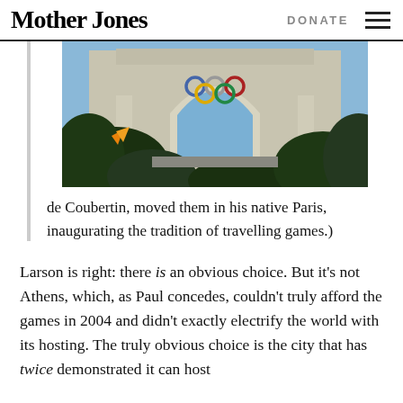Mother Jones | DONATE
[Figure (photo): Photograph of the Los Angeles Memorial Coliseum exterior with Olympic rings visible on the facade, tropical plants in the foreground, blue sky in background.]
de Coubertin, moved them in his native Paris, inaugurating the tradition of travelling games.)
Larson is right: there is an obvious choice. But it’s not Athens, which, as Paul concedes, couldn’t truly afford the games in 2004 and didn’t exactly electrify the world with its hosting. The truly obvious choice is the city that has twice demonstrated it can host